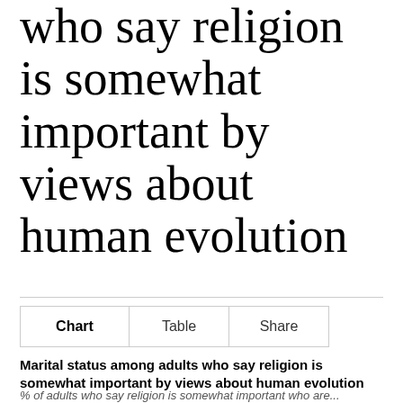who say religion is somewhat important by views about human evolution
Marital status among adults who say religion is somewhat important by views about human evolution
% of adults who say religion is somewhat important who are...